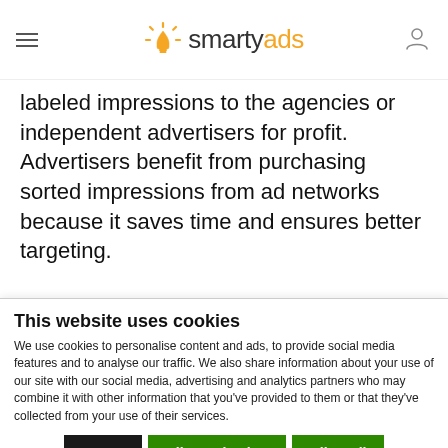smartyads
labeled impressions to the agencies or independent advertisers for profit. Advertisers benefit from purchasing sorted impressions from ad networks because it saves time and ensures better targeting.
Agency Trading Desk
This website uses cookies
We use cookies to personalise content and ads, to provide social media features and to analyse our traffic. We also share information about your use of our site with our social media, advertising and analytics partners who may combine it with other information that you've provided to them or that they've collected from your use of their services.
Deny | Allow selection | Allow all
Necessary | Preferences | Statistics | Marketing | Show details